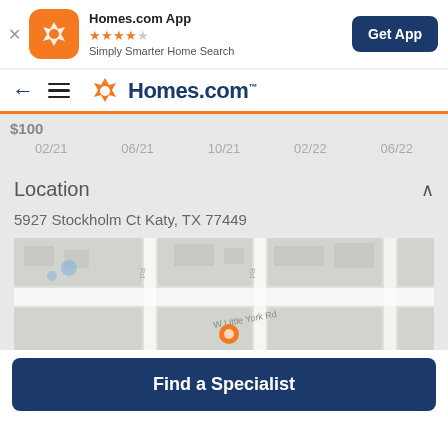[Figure (screenshot): Homes.com app banner with app icon, star rating, tagline, and Get App button]
Homes.com navigation bar with back arrow, menu icon, and Homes.com logo
[Figure (continuous-plot): Price history chart x-axis showing dates: 02/21, 06/21, 10/21, 02/22, 06/22]
Location
5927 Stockholm Ct Katy, TX 77449
[Figure (map): Street map showing area around W Little York Rd with an orange location pin marker]
Find a Specialist